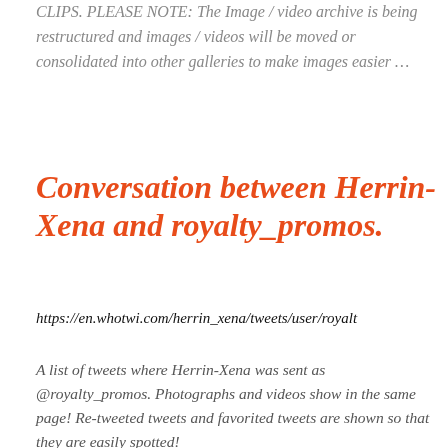CLIPS. PLEASE NOTE: The Image / video archive is being restructured and images / videos will be moved or consolidated into other galleries to make images easier …
Conversation between Herrin-Xena and royalty_promos.
https://en.whotwi.com/herrin_xena/tweets/user/royalty
A list of tweets where Herrin-Xena was sent as @royalty_promos. Photographs and videos show in the same page! Re-tweeted tweets and favorited tweets are shown so that they are easily spotted!